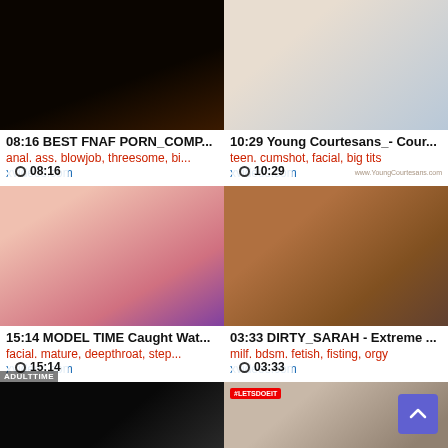[Figure (screenshot): Video thumbnail dark scene, duration 08:16]
08:16 BEST FNAF PORN_COMP...
anal, ass, blowjob, threesome, bi...
xvideos.com
[Figure (screenshot): Video thumbnail light scene, duration 10:29]
10:29 Young Courtesans_- Cour...
teen, cumshot, facial, big tits
xvideos.com
[Figure (screenshot): Video thumbnail woman in pink, duration 15:14]
15:14 MODEL TIME Caught Wat...
facial, mature, deepthroat, step...
xvideos.com
[Figure (screenshot): Video thumbnail messy scene, duration 03:33]
03:33 DIRTY_SARAH - Extreme ...
milf, bdsm, fetish, fisting, orgy
xvideos.com
[Figure (screenshot): Video thumbnail dark closeup, partial]
[Figure (screenshot): Video thumbnail collage with #LETSDOEIT badge, partial]